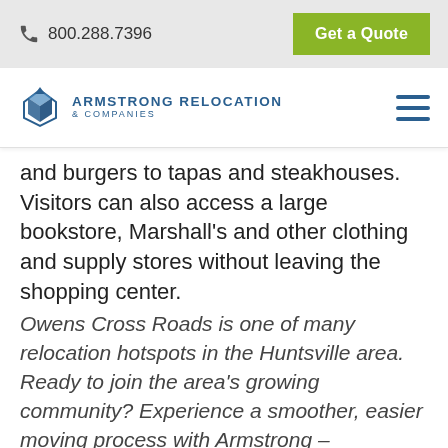800.288.7396  Get a Quote
[Figure (logo): Armstrong Relocation & Companies logo with diamond/arrow icon]
and burgers to tapas and steakhouses. Visitors can also access a large bookstore, Marshall's and other clothing and supply stores without leaving the shopping center.
Owens Cross Roads is one of many relocation hotspots in the Huntsville area. Ready to join the area's growing community? Experience a smoother, easier moving process with Armstrong – Huntsville. Learn more by calling 256.792.6284 or requesting a free quote